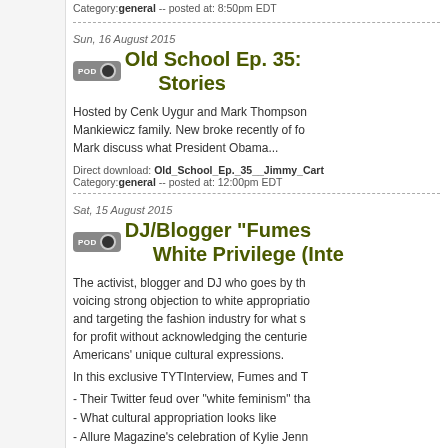Category: general -- posted at: 8:50pm EDT
Sun, 16 August 2015
Old School Ep. 35: ... Stories
Hosted by Cenk Uygur and Mark Thompson... Mankiewicz family. New broke recently of fo... Mark discuss what President Obama...
Direct download: Old_School_Ep._35__Jimmy_Cart... Category: general -- posted at: 12:00pm EDT
Sat, 15 August 2015
DJ/Blogger "Fumes... White Privilege (Inte...
The activist, blogger and DJ who goes by th... voicing strong objection to white appropriatio... and targeting the fashion industry for what s... for profit without acknowledging the centurie... Americans' unique cultural expressions.
In this exclusive TYTInterview, Fumes and T...
- Their Twitter feud over "white feminism" tha...
- What cultural appropriation looks like
- Allure Magazine's celebration of Kylie Jenn...
- The complicated history and expression of...
- Why everyone in American culture is encou...
- Whether calling out celebrities for appropria...
- Why Rachel Doleful has no right to pretend...
- The #BlackLivesMatter movement activists...